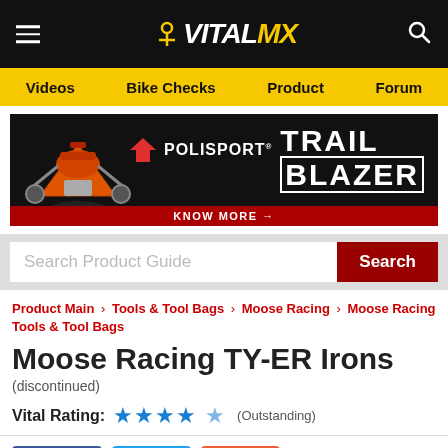VITALMX
[Figure (screenshot): Navigation bar with Videos, Bike Checks, Product, Forum links on yellow background]
[Figure (infographic): Polisport Trail Blazer advertisement banner with orange KTM motorcycle, Polisport logo, TRAIL BLAZER text, and KNOW MORE button]
[Figure (screenshot): Search Product Guide input box with red Search button]
Product Main > Tools & Tool Bags > Moose Racing > Moose Racing Tools & Tool Bags
Moose Racing TY-ER Irons (discontinued)
Vital Rating: ★★★★½ (Outstanding)
Share 0   Tweet   Share